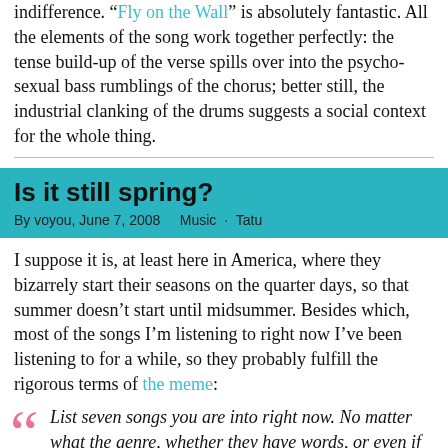indifference. "Fly on the Wall" is absolutely fantastic. All the elements of the song work together perfectly: the tense build-up of the verse spills over into the psycho-sexual bass rumblings of the chorus; better still, the industrial clanking of the drums suggests a social context for the whole thing.
Is it still spring?
By voyou, June 7, 2008    Music · Tatu
I suppose it is, at least here in America, where they bizarrely start their seasons on the quarter days, so that summer doesn't start until midsummer. Besides which, most of the songs I'm listening to right now I've been listening to for a while, so they probably fulfill the rigorous terms of the meme:
List seven songs you are into right now. No matter what the genre, whether they have words, or even if they're not any good, but they must be songs you're really enjoying now,